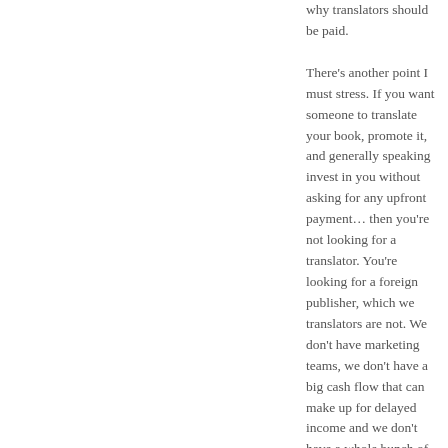why translators should be paid.

There's another point I must stress. If you want someone to translate your book, promote it, and generally speaking invest in you without asking for any upfront payment... then you're not looking for a translator. You're looking for a foreign publisher, which we translators are not. We don't have marketing teams, we don't have a big cash flow that can make up for delayed income and we don't have a whole bunch of